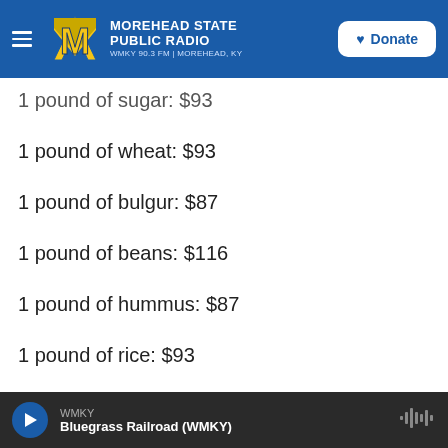MOREHEAD STATE PUBLIC RADIO — WMKY 90.3 FM | MOREHEAD, KY — Donate
1 pound of sugar: $93
1 pound of wheat: $93
1 pound of bulgur: $87
1 pound of beans: $116
1 pound of hummus: $87
1 pound of rice: $93
Biscuits (per piece): $15
As NPR's Alison Meuse reports to our Newscast
WMKY — Bluegrass Railroad (WMKY)